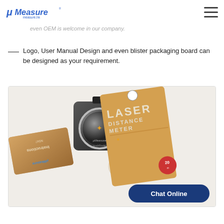μMeasure measure.hk
even OEM is welcome in our company.
Logo, User Manual Design and even blister packaging board can be designed as your requirement.
[Figure (photo): Photo of a black laser distance meter device alongside blister packaging cards showing 'LASER DISTANCE METER' branding with μMeasure logo and an instruction booklet.]
Chat Online